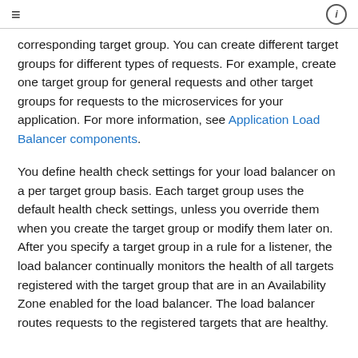≡  ⓘ
corresponding target group. You can create different target groups for different types of requests. For example, create one target group for general requests and other target groups for requests to the microservices for your application. For more information, see Application Load Balancer components.
You define health check settings for your load balancer on a per target group basis. Each target group uses the default health check settings, unless you override them when you create the target group or modify them later on. After you specify a target group in a rule for a listener, the load balancer continually monitors the health of all targets registered with the target group that are in an Availability Zone enabled for the load balancer. The load balancer routes requests to the registered targets that are healthy.